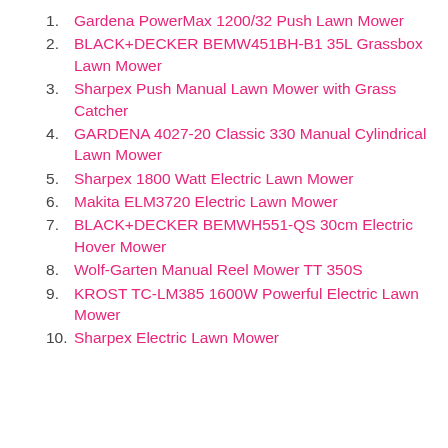Gardena PowerMax 1200/32 Push Lawn Mower
BLACK+DECKER BEMW451BH-B1 35L Grassbox Lawn Mower
Sharpex Push Manual Lawn Mower with Grass Catcher
GARDENA 4027-20 Classic 330 Manual Cylindrical Lawn Mower
Sharpex 1800 Watt Electric Lawn Mower
Makita ELM3720 Electric Lawn Mower
BLACK+DECKER BEMWH551-QS 30cm Electric Hover Mower
Wolf-Garten Manual Reel Mower TT 350S
KROST TC-LM385 1600W Powerful Electric Lawn Mower
Sharpex Electric Lawn Mower